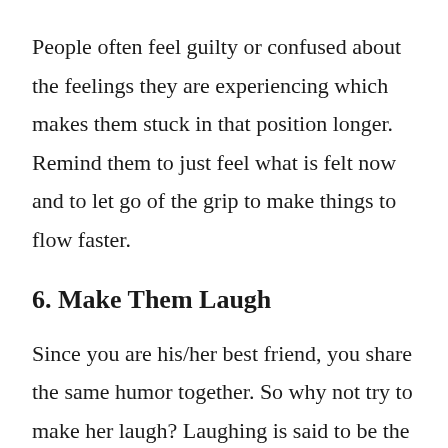People often feel guilty or confused about the feelings they are experiencing which makes them stuck in that position longer. Remind them to just feel what is felt now and to let go of the grip to make things to flow faster.
6. Make Them Laugh
Since you are his/her best friend, you share the same humor together. So why not try to make her laugh? Laughing is said to be the best cure to sadness.